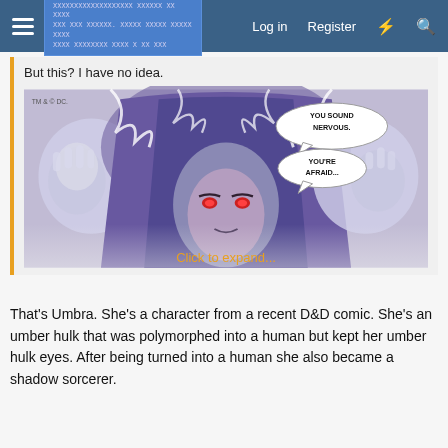Log in  Register
But this? I have no idea.
[Figure (illustration): Comic panel showing a hooded figure with glowing red eyes and speech bubbles saying 'YOU SOUND NERVOUS.' and 'YOU'RE AFRAID...' with TM & © DC. marking]
Click to expand...
That's Umbra. She's a character from a recent D&D comic. She's an umber hulk that was polymorphed into a human but kept her umber hulk eyes. After being turned into a human she also became a shadow sorcerer.
Now who is this?
[Figure (illustration): Partial comic panel showing a green alien or creature head against a blue background, black and white diagonal lines visible]